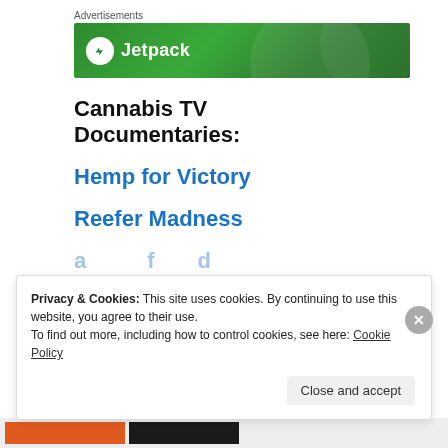[Figure (other): Jetpack advertisement banner with green gradient background showing the Jetpack logo and name]
Cannabis TV Documentaries:
Hemp for Victory
Reefer Madness
Privacy & Cookies: This site uses cookies. By continuing to use this website, you agree to their use.
To find out more, including how to control cookies, see here: Cookie Policy
Close and accept